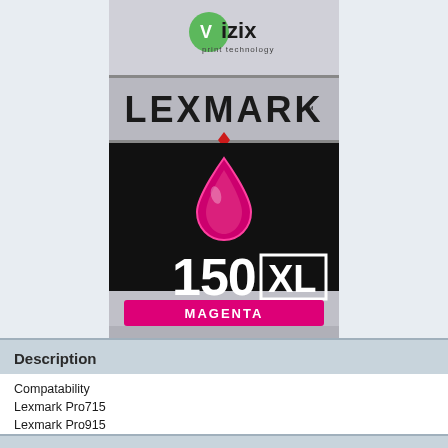[Figure (photo): Lexmark 150 XL Magenta Ink Cartridge product image. Shows a silver/black box with Vizix print technology logo at top, Lexmark logo with diamond in silver band, black area with magenta ink drop icon, large text '150 XL', magenta banner reading 'MAGENTA', and text 'INK CARTRIDGE'.]
Description
Compatability
Lexmark Pro715
Lexmark Pro915
Lexmark S315
Lexmark S415
Lexmark S515
Reviews